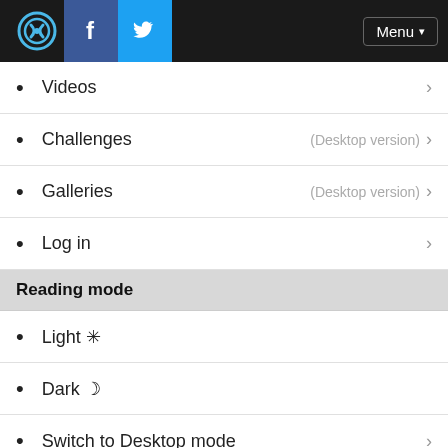[Figure (screenshot): Navigation header bar with DPReview logo, Facebook icon, Twitter icon, and Menu button]
Videos
Challenges (Desktop version)
Galleries (Desktop version)
Log in
Reading mode
Light ☼
Dark ☾
Switch to Desktop mode
[Figure (logo): DPReview Digital Photography Review logo with 'an amazon company' tagline on dark background]